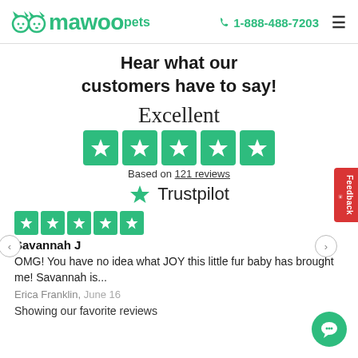mawoo pets | 1-888-488-7203
Hear what our customers have to say!
Excellent
[Figure (other): Five green Trustpilot star rating boxes]
Based on 121 reviews
[Figure (logo): Trustpilot logo with green star and Trustpilot text]
[Figure (other): Five small green star rating boxes for review]
Savannah J
OMG! You have no idea what JOY this little fur baby has brought me! Savannah is...
Erica Franklin, June 16
Showing our favorite reviews